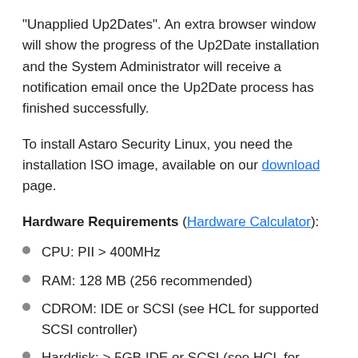“Unapplied Up2Dates”. An extra browser window will show the progress of the Up2Date installation and the System Administrator will receive a notification email once the Up2Date process has finished successfully.
To install Astaro Security Linux, you need the installation ISO image, available on our download page.
Hardware Requirements (Hardware Calculator):
CPU: PII > 400MHz
RAM: 128 MB (256 recommended)
CDROM: IDE or SCSI (see HCL for supported SCSI controller)
Harddisk: > 5GB IDE or SCSI (see HCL for supported SCSI controller)